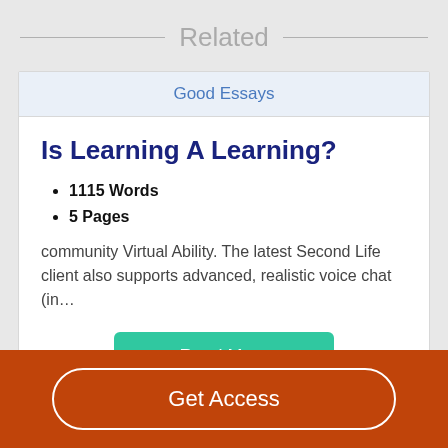Related
Good Essays
Is Learning A Learning?
1115 Words
5 Pages
community Virtual Ability. The latest Second Life client also supports advanced, realistic voice chat (in…
Read More
Get Access